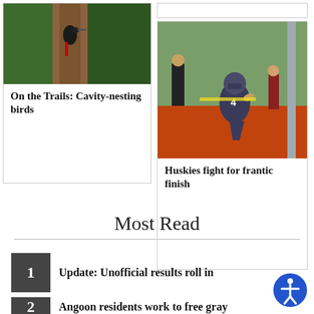[Figure (photo): A woodpecker on a tree trunk in a forest setting]
On the Trails: Cavity-nesting birds
[Figure (photo): A football player wearing jersey number 4 running on a track field]
Huskies fight for frantic finish
Most Read
1 Update: Unofficial results roll in
2 Angoon residents work to free gray